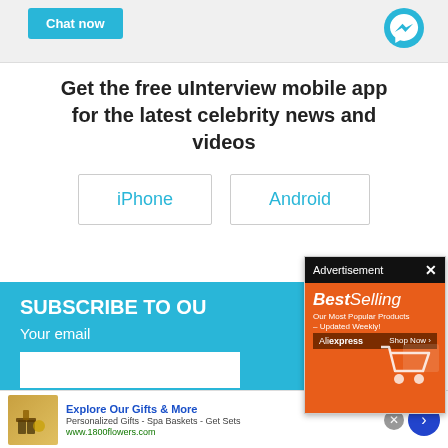[Figure (screenshot): Chat now button and Messenger icon on a light gray bar]
Get the free uInterview mobile app for the latest celebrity news and videos
iPhone
Android
SUBSCRIBE TO OU
Your email
[Figure (screenshot): Advertisement popup - BestSelling AliExpress banner with orange background, shopping cart, and Shop Now button]
[Figure (screenshot): Bottom advertisement banner - Explore Our Gifts & More from 1800flowers.com with product image]